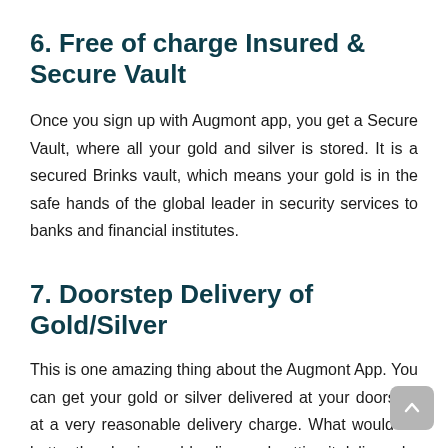6. Free of charge Insured & Secure Vault
Once you sign up with Augmont app, you get a Secure Vault, where all your gold and silver is stored. It is a secured Brinks vault, which means your gold is in the safe hands of the global leader in security services to banks and financial institutes.
7. Doorstep Delivery of Gold/Silver
This is one amazing thing about the Augmont App. You can get your gold or silver delivered at your doorstep at a very reasonable delivery charge. What would be better than buying gold online and getting it delivered